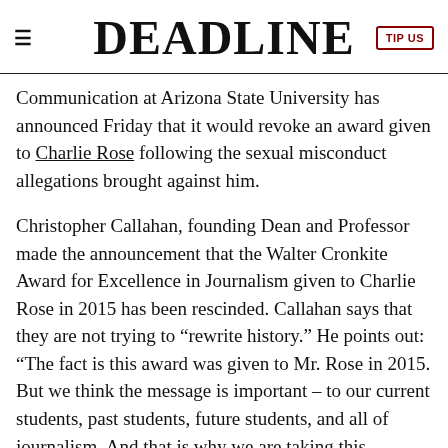DEADLINE
Communication at Arizona State University has announced Friday that it would revoke an award given to Charlie Rose following the sexual misconduct allegations brought against him.
Christopher Callahan, founding Dean and Professor made the announcement that the Walter Cronkite Award for Excellence in Journalism given to Charlie Rose in 2015 has been rescinded. Callahan says that they are not trying to “rewrite history.” He points out: “The fact is this award was given to Mr. Rose in 2015. But we think the message is important – to our current students, past students, future students, and all of journalism. And that is why we are taking this unprecedented action today.”
RELATED STORY